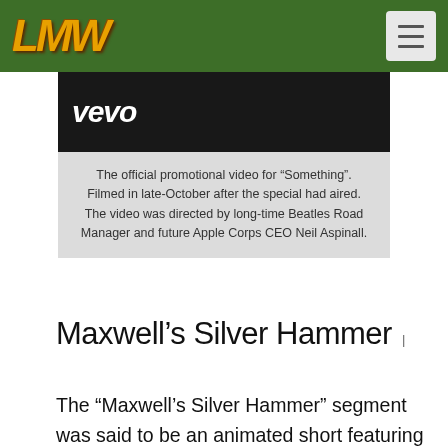LMW [logo] | hamburger menu
[Figure (screenshot): Vevo logo on dark background, partial screenshot of music video]
The official promotional video for “Something”. Filmed in late-October after the special had aired. The video was directed by long-time Beatles Road Manager and future Apple Corps CEO Neil Aspinall.
Maxwell’s Silver Hammer
The “Maxwell’s Silver Hammer” segment was said to be an animated short featuring Maxwell and The Beatles. The segment also featured a shot of an illustration of The Beatles (with their mid-1969 hairstyles and breads) dressed as a barbershop quartet. The heads of the illustration moved to emulate the group signing. This effect was achieved